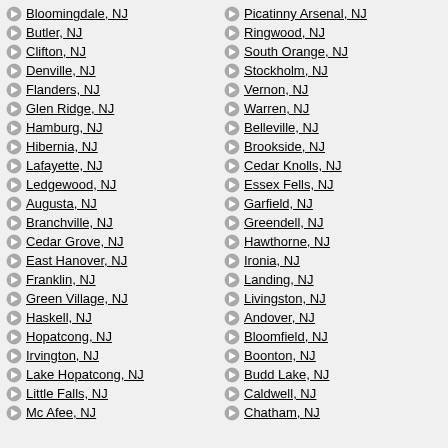Bloomingdale, NJ
Butler, NJ
Clifton, NJ
Denville, NJ
Flanders, NJ
Glen Ridge, NJ
Hamburg, NJ
Hibernia, NJ
Lafayette, NJ
Ledgewood, NJ
Augusta, NJ
Branchville, NJ
Cedar Grove, NJ
East Hanover, NJ
Franklin, NJ
Green Village, NJ
Haskell, NJ
Hopatcong, NJ
Irvington, NJ
Lake Hopatcong, NJ
Little Falls, NJ
Mc Afee, NJ
Picatinny Arsenal, NJ
Ringwood, NJ
South Orange, NJ
Stockholm, NJ
Vernon, NJ
Warren, NJ
Belleville, NJ
Brookside, NJ
Cedar Knolls, NJ
Essex Fells, NJ
Garfield, NJ
Greendell, NJ
Hawthorne, NJ
Ironia, NJ
Landing, NJ
Livingston, NJ
Andover, NJ
Bloomfield, NJ
Boonton, NJ
Budd Lake, NJ
Caldwell, NJ
Chatham, NJ